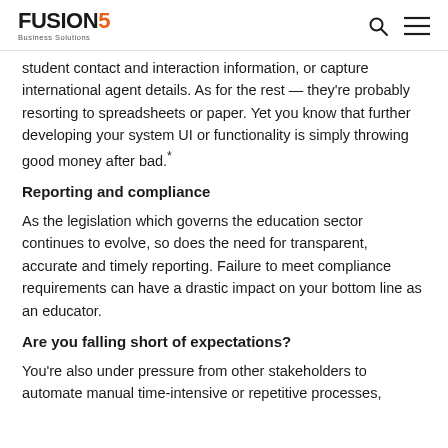FUSION5 Business Solutions
student contact and interaction information, or capture international agent details. As for the rest — they're probably resorting to spreadsheets or paper. Yet you know that further developing your system UI or functionality is simply throwing good money after bad.*
Reporting and compliance
As the legislation which governs the education sector continues to evolve, so does the need for transparent, accurate and timely reporting. Failure to meet compliance requirements can have a drastic impact on your bottom line as an educator.
Are you falling short of expectations?
You're also under pressure from other stakeholders to automate manual time-intensive or repetitive processes,